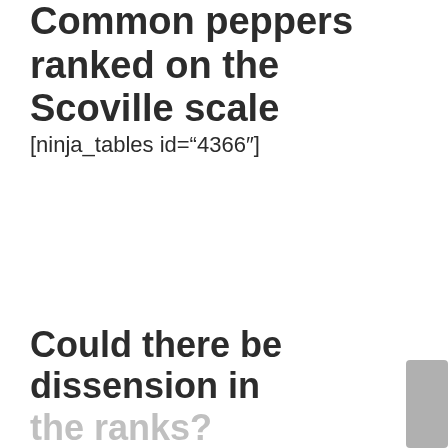Common peppers ranked on the Scoville scale
[ninja_tables id="4366"]
Could there be dissension in the ranks?